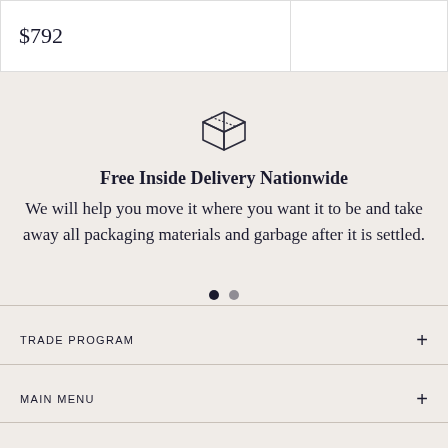| Price |  |
| --- | --- |
| $792 |  |
[Figure (illustration): A simple line-art icon of a cardboard shipping box / package]
Free Inside Delivery Nationwide
We will help you move it where you want it to be and take away all packaging materials and garbage after it is settled.
• •  (carousel navigation dots)
TRADE PROGRAM  +
MAIN MENU  +
FOOTER MENU  +